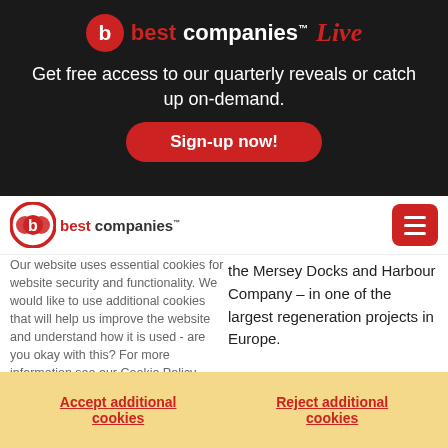[Figure (logo): Best Companies Live logo with red circle B, 'best companies' text and italic 'Live' in red]
Get free access to our quarterly reveals or catch up on-demand.
Sign-up now!
[Figure (logo): Best Companies logo - small version in navigation bar]
Our website uses essential cookies for website security and functionality. We would like to use additional cookies that will help us improve the website and understand how it is used - are you okay with this? For more information see our Cookie Policy
the Mersey Docks and Harbour Company – in one of the largest regeneration projects in Europe. Careers cover a variety of roles, units and projects within the Manchester-headquartered company's £2.6 billion portfolio, which comprises 12 million square feet of property that it owns and
Accept additional cookies
Reject additional cookies